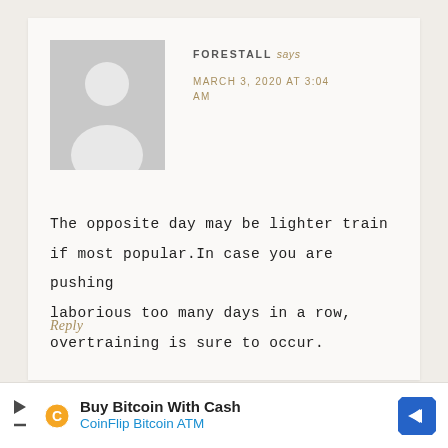[Figure (illustration): Gray default avatar/placeholder user icon showing a silhouette of a person]
FORESTALL says
MARCH 3, 2020 AT 3:04 AM
The opposite day may be lighter train if most popular.In case you are pushing laborious too many days in a row, overtraining is sure to occur.
Reply
Buy Bitcoin With Cash
CoinFlip Bitcoin ATM